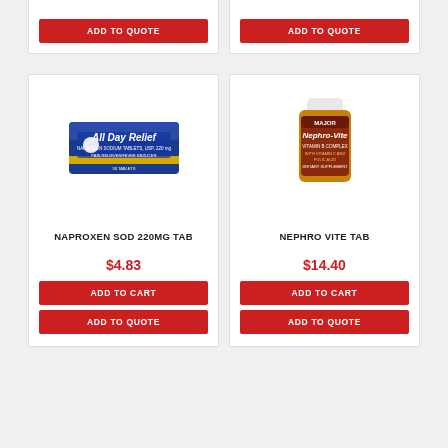[Figure (photo): ADD TO QUOTE button for previous product (top left)]
[Figure (photo): ADD TO QUOTE button for previous product (top right)]
[Figure (photo): Naproxen SOD 220MG Tab product image - blue pill box labeled All Day Relief]
NAPROXEN SOD 220MG TAB
$4.83
ADD TO CART
ADD TO QUOTE
[Figure (photo): Nephro Vite Tab product image - brown/gold supplement bottle]
NEPHRO VITE TAB
$14.40
ADD TO CART
ADD TO QUOTE